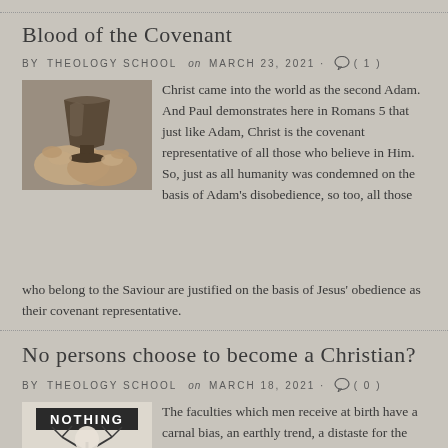Blood of the Covenant
BY THEOLOGY SCHOOL on MARCH 23, 2021 · (1)
[Figure (photo): Hands holding a dark ceramic cup or chalice, representing the blood of the covenant]
Christ came into the world as the second Adam. And Paul demonstrates here in Romans 5 that just like Adam, Christ is the covenant representative of all those who believe in Him. So, just as all humanity was condemned on the basis of Adam's disobedience, so too, all those who belong to the Saviour are justified on the basis of Jesus' obedience as their covenant representative.
No persons choose to become a Christian?
BY THEOLOGY SCHOOL on MARCH 18, 2021 · (0)
[Figure (photo): A figure standing with text NOTHING above, representing the concept that no persons choose to become a Christian]
The faculties which men receive at birth have a carnal bias, an earthly trend, a distaste for the heavenly and divine, and are inclined only to selfish aims and groveling pursuits. In the most polished or religious